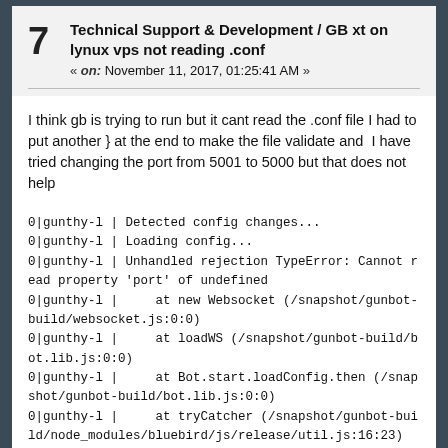7  Technical Support & Development / GB xt on lynux vps not reading .conf
« on: November 11, 2017, 01:25:41 AM »
I think gb is trying to run but it cant read the .conf file I had to put another } at the end to make the file validate and  I have tried changing the port from 5001 to 5000 but that does not help
0|gunthy-l | Detected config changes...
0|gunthy-l | Loading config...
0|gunthy-l | Unhandled rejection TypeError: Cannot read property 'port' of undefined
0|gunthy-l |     at new Websocket (/snapshot/gunbot-build/websocket.js:0:0)
0|gunthy-l |     at loadWS (/snapshot/gunbot-build/bot.lib.js:0:0)
0|gunthy-l |     at Bot.start.loadConfig.then (/snapshot/gunbot-build/bot.lib.js:0:0)
0|gunthy-l |     at tryCatcher (/snapshot/gunbot-build/node_modules/bluebird/js/release/util.js:16:23)
0|gunthy-l |     at Promise.module.exports.Promise._settlePromiseFromHandler (/snapshot/gunbot-build/node_modules/bluebird/js/release/promise.js:512:31)
0|gunthy-l |     at Promise.module.exports.Promise._settlePromise